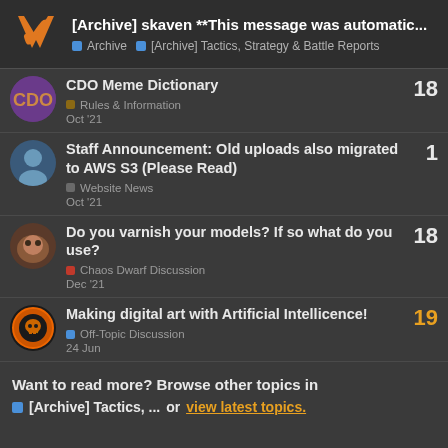[Archive] skaven **This message was automatic... | Archive | [Archive] Tactics, Strategy & Battle Reports
CDO Meme Dictionary | Rules & Information | Oct '21 | 18
Staff Announcement: Old uploads also migrated to AWS S3 (Please Read) | Website News | Oct '21 | 1
Do you varnish your models? If so what do you use? | Chaos Dwarf Discussion | Dec '21 | 18
Making digital art with Artificial Intellicence! | Off-Topic Discussion | 24 Jun | 19
Want to read more? Browse other topics in [Archive] Tactics, ... or view latest topics.